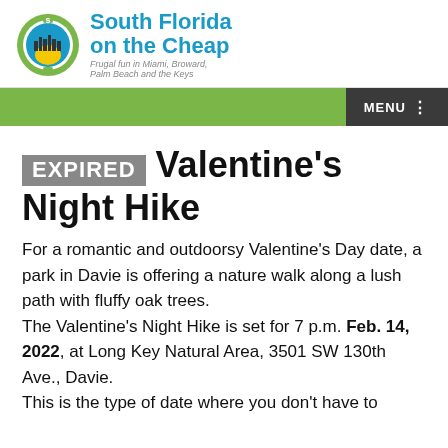[Figure (logo): South Florida on the Cheap logo with green circle and city skyline icon, blue and green text]
MENU
EXPIRED Valentine's Night Hike
For a romantic and outdoorsy Valentine's Day date, a park in Davie is offering a nature walk along a lush path with fluffy oak trees.
The Valentine's Night Hike is set for 7 p.m. Feb. 14, 2022, at Long Key Natural Area, 3501 SW 130th Ave., Davie.
This is the type of date where you don't have to